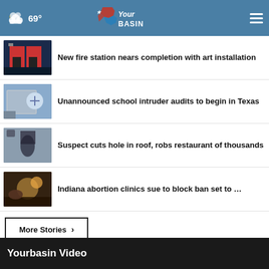69° YourBasin
New fire station nears completion with art installation
Unannounced school intruder audits to begin in Texas
Suspect cuts hole in roof, robs restaurant of thousands
Indiana abortion clinics sue to block ban set to …
More Stories ›
Yourbasin Video